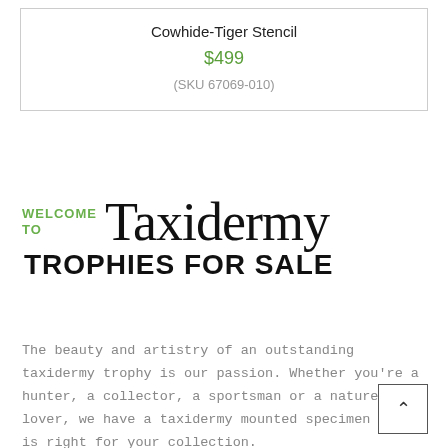Cowhide-Tiger Stencil
$499
(SKU 67069-010)
WELCOME TO Taxidermy TROPHIES FOR SALE
The beauty and artistry of an outstanding taxidermy trophy is our passion. Whether you're a hunter, a collector, a sportsman or a nature lover, we have a taxidermy mounted specimen that is right for your collection.